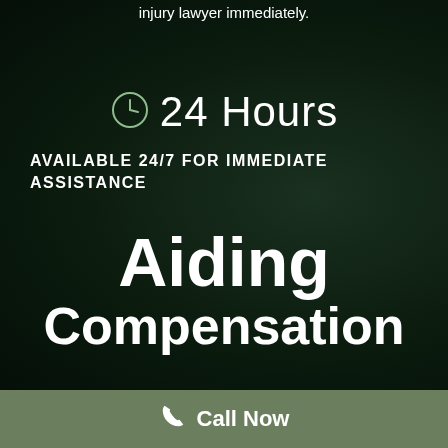injury lawyer immediately.
24 Hours
AVAILABLE 24/7 FOR IMMEDIATE ASSISTANCE
Aiding Compensation
Call Now